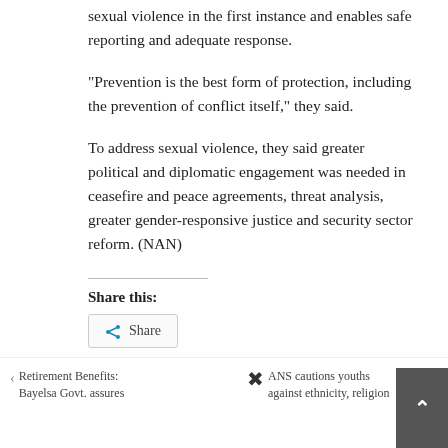sexual violence in the first instance and enables safe reporting and adequate response.
“Prevention is the best form of protection, including the prevention of conflict itself,” they said.
To address sexual violence, they said greater political and diplomatic engagement was needed in ceasefire and peace agreements, threat analysis, greater gender-responsive justice and security sector reform. (NAN)
Share this:
Share
Retirement Benefits: Bayelsa Govt. assures
ANS cautions youths against ethnicity, religion